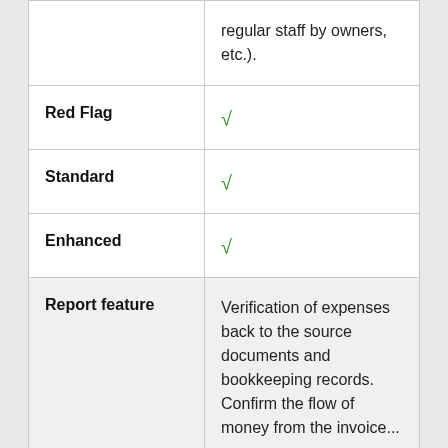| Feature | Details |
| --- | --- |
|  | regular staff by owners, etc.). |
| Red Flag | ✓ |
| Standard | ✓ |
| Enhanced | ✓ |
| Report feature | Verification of expenses back to the source documents and bookkeeping records. Confirm the flow of money from the invoice... |